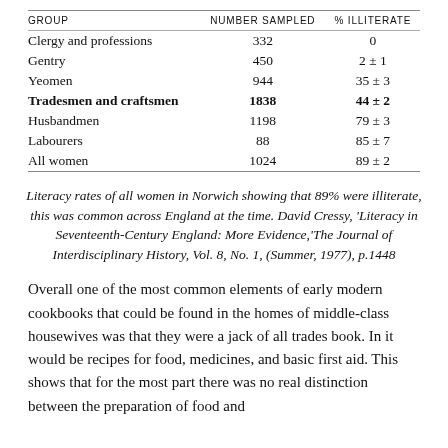| Group | Number Sampled | % Illiterate |
| --- | --- | --- |
| Clergy and professions | 332 | 0 |
| Gentry | 450 | 2 ± 1 |
| Yeomen | 944 | 35 ± 3 |
| Tradesmen and craftsmen | 1838 | 44 ± 2 |
| Husbandmen | 1198 | 79 ± 3 |
| Labourers | 88 | 85 ± 7 |
| All women | 1024 | 89 ± 2 |
Literacy rates of all women in Norwich showing that 89% were illiterate, this was common across England at the time. David Cressy, 'Literacy in Seventeenth-Century England: More Evidence,'The Journal of Interdisciplinary History, Vol. 8, No. 1, (Summer, 1977), p.1448
Overall one of the most common elements of early modern cookbooks that could be found in the homes of middle-class housewives was that they were a jack of all trades book. In it would be recipes for food, medicines, and basic first aid. This shows that for the most part there was no real distinction between the preparation of food and